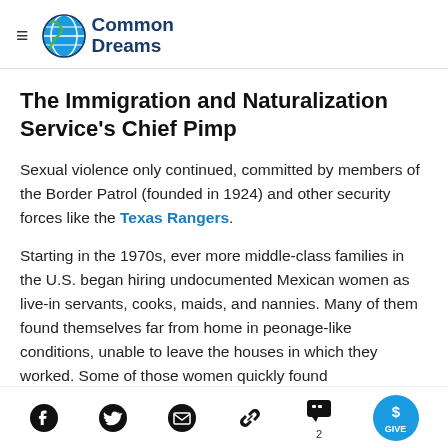Common Dreams
The Immigration and Naturalization Service's Chief Pimp
Sexual violence only continued, committed by members of the Border Patrol (founded in 1924) and other security forces like the Texas Rangers.
Starting in the 1970s, ever more middle-class families in the U.S. began hiring undocumented Mexican women as live-in servants, cooks, maids, and nannies. Many of them found themselves far from home in peonage-like conditions, unable to leave the houses in which they worked. Some of those women quickly found
Social share bar with Facebook, Twitter, Email, Link, Comments (2), and GIVE button